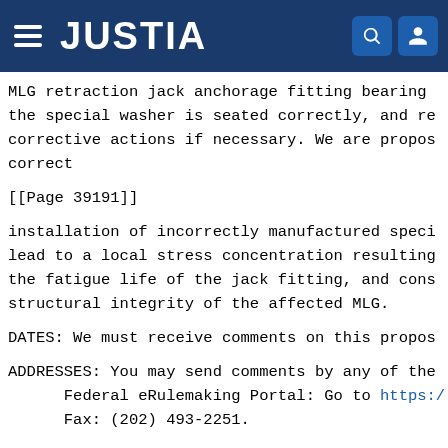JUSTIA
MLG retraction jack anchorage fitting bearing the special washer is seated correctly, and re corrective actions if necessary. We are propos correct
[[Page 39191]]
installation of incorrectly manufactured speci lead to a local stress concentration resulting the fatigue life of the jack fitting, and cons structural integrity of the affected MLG.
DATES: We must receive comments on this propos
ADDRESSES: You may send comments by any of the
      Federal eRulemaking Portal: Go to https:/
      Fax: (202) 493-2251.